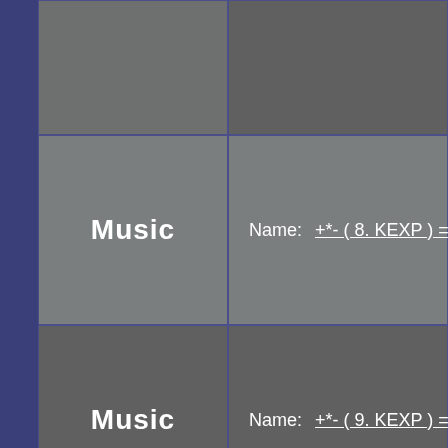Music
Name:   +*- ( 8. KEXP ) =*+
Music
Name:   +*- ( 9. KEXP ) =*+